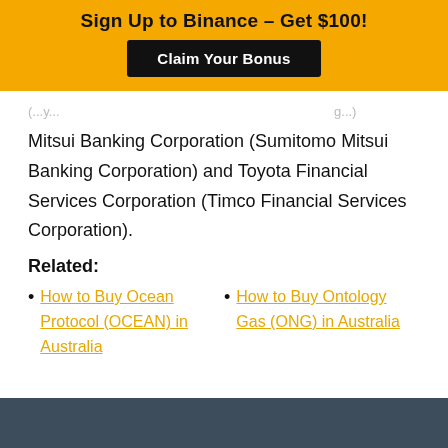[Figure (infographic): Yellow banner advertisement: 'Sign Up to Binance – Get $100!' with a black 'Claim Your Bonus' button]
Mitsui Banking Corporation (Sumitomo Mitsui Banking Corporation) and Toyota Financial Services Corporation (Timco Financial Services Corporation).
Related:
How to Buy Ocean Protocol (OCEAN) in Australia
How to Buy Ontology Gas (ONG) in Australia